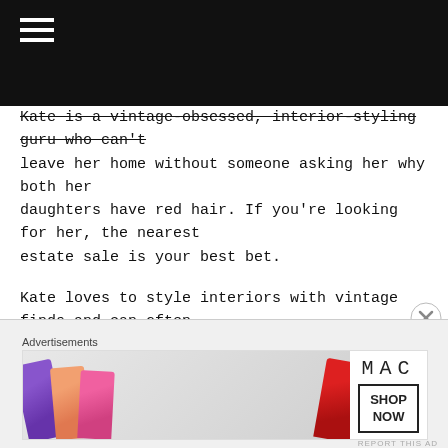[Navigation header bar with hamburger menu]
Kate is a vintage-obsessed, interior-styling guru who can't leave her home without someone asking her why both her daughters have red hair. If you're looking for her, the nearest estate sale is your best bet.
Kate loves to style interiors with vintage finds and can often be found arguing that coffee is an adequate supplement for vitamins.
[Figure (other): Close button (X) for advertisement]
Advertisements
[Figure (photo): MAC Cosmetics advertisement showing colorful lipsticks (purple, peach, pink, red) alongside the MAC logo and a SHOP NOW button]